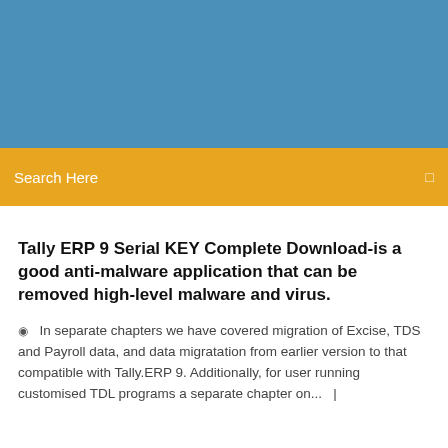[Figure (other): Blue header banner background]
Search Here
Tally ERP 9 Serial KEY Complete Download-is a good anti-malware application that can be removed high-level malware and virus.
In separate chapters we have covered migration of Excise, TDS and Payroll data, and data migratation from earlier version to that compatible with Tally.ERP 9. Additionally, for user running customised TDL programs a separate chapter on...  |